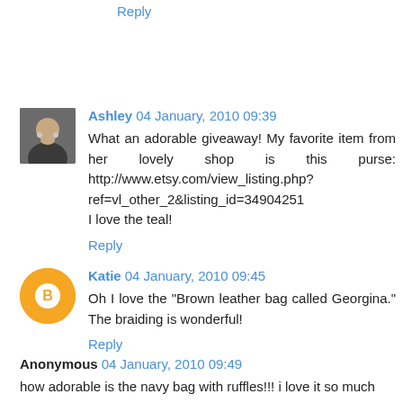Reply
Ashley  04 January, 2010 09:39
What an adorable giveaway! My favorite item from her lovely shop is this purse: http://www.etsy.com/view_listing.php?ref=vl_other_2&listing_id=34904251
I love the teal!
Reply
Katie  04 January, 2010 09:45
Oh I love the "Brown leather bag called Georgina." The braiding is wonderful!
Reply
Anonymous  04 January, 2010 09:49
how adorable is the navy bag with ruffles!!! i love it so much the pricing the compete have an expensive account dd